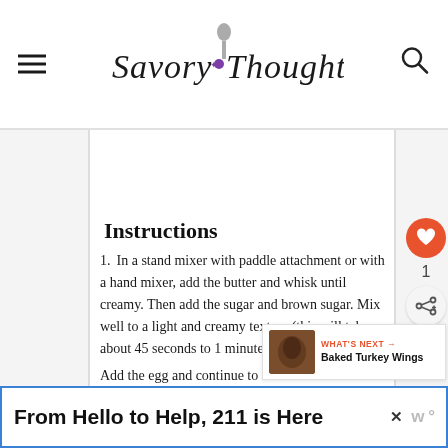Savory Thoughts
Instructions
In a stand mixer with paddle attachment or with a hand mixer, add the butter and whisk until creamy. Then add the sugar and brown sugar. Mix well to a light and creamy texture (this will take about 45 seconds to 1 minute).
Add the egg and continue to mix for minutes.
Then add the flour, baking soda, and
From Hello to Help, 211 is Here